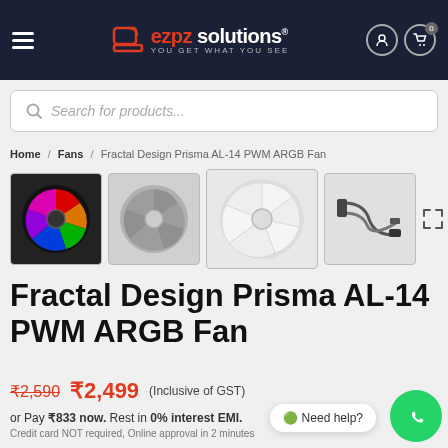ezpz solutions® — YOU GET WHAT YOU SEE
Search for products...
Home / Fans / Fractal Design Prisma AL-14 PWM ARGB Fan
[Figure (photo): Four product thumbnail images of the Fractal Design Prisma AL-14 PWM ARGB Fan: RGB lit fan, grey fan blade view, white fan blade side view, fan cable accessories. Plus an expand/fullscreen icon.]
Fractal Design Prisma AL-14 PWM ARGB Fan
₹2,590  ₹2,499 (Inclusive of GST)
or Pay ₹833 now. Rest in 0% interest EMI. Credit card NOT required, Online approval in 2 minutes